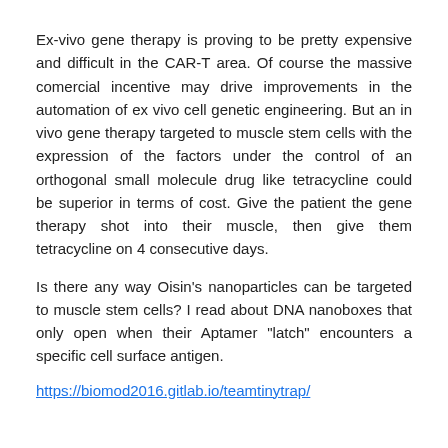Ex-vivo gene therapy is proving to be pretty expensive and difficult in the CAR-T area. Of course the massive comercial incentive may drive improvements in the automation of ex vivo cell genetic engineering. But an in vivo gene therapy targeted to muscle stem cells with the expression of the factors under the control of an orthogonal small molecule drug like tetracycline could be superior in terms of cost. Give the patient the gene therapy shot into their muscle, then give them tetracycline on 4 consecutive days.
Is there any way Oisin's nanoparticles can be targeted to muscle stem cells? I read about DNA nanoboxes that only open when their Aptamer "latch" encounters a specific cell surface antigen.
https://biomod2016.gitlab.io/teamtinytrap/